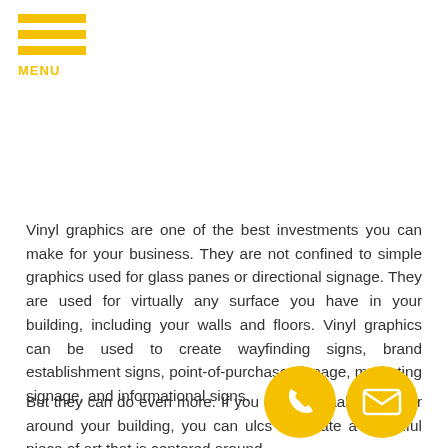MENU
Vinyl graphics are one of the best investments you can make for your business. They are not confined to simple graphics used for glass panes or directional signage. They are used for virtually any surface you have in your building, including your walls and floors. Vinyl graphics can be used to create wayfinding signs, brand establishment signs, point-of-purchase signage, marketing signage, and informational signs.
But they can do even more. If you have blank walls within or around your building, you can use vinyl graphics to create a beautiful piece of art that is centered around your brand.